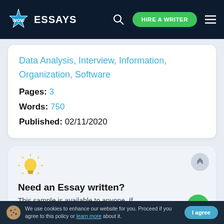[Figure (logo): WowEssays logo with star burst icon and site navigation header on dark navy background]
Data Analysis, Interview, Information, Organization, Software
Pages: 3
Words: 750
Published: 02/11/2020
[Figure (illustration): Light bulb icon with yellow glow and rays]
Need an Essay written?
This sample is available to anyone. If you want a unique paper, order it from
We use cookies to enhance our website for you. Proceed if you agree to this policy or learn more about it.